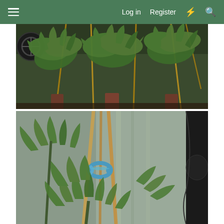Log in  Register
[Figure (photo): Indoor cannabis plants in a grow tent, multiple plants with bamboo stakes visible, viewed from above/front showing lush green canopy]
[Figure (photo): Close-up of cannabis plant in grow tent with bamboo stakes tied together with blue twist tie, reflective mylar tent walls visible in background]